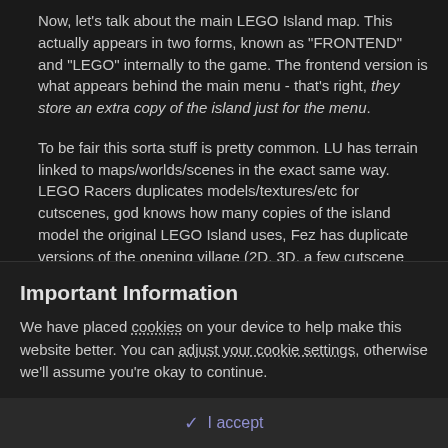Now, let's talk about the main LEGO Island map. This actually appears in two forms, known as "FRONTEND" and "LEGO" internally to the game. The frontend version is what appears behind the main menu - that's right, they store an extra copy of the island just for the menu.
To be fair this sorta stuff is pretty common. LU has terrain linked to maps/worlds/scenes in the exact same way. LEGO Racers duplicates models/textures/etc for cutscenes, god knows how many copies of the island model the original LEGO Island uses, Fez has duplicate versions of the opening village (2D, 3D, a few cutscene variations, etc). McJobless has talked about how even the Ratchet and Clank games duplicate all the assets per level/world, like LI2 PC (and maybe PS1? We haven't looked at that much though). Sure it's not the most efficient
Important Information
We have placed cookies on your device to help make this website better. You can adjust your cookie settings, otherwise we'll assume you're okay to continue.